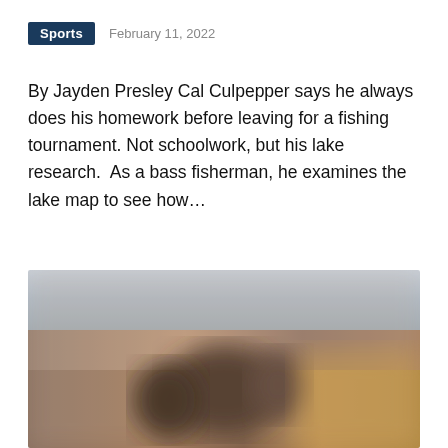Sports   February 11, 2022
By Jayden Presley Cal Culpepper says he always does his homework before leaving for a fishing tournament. Not schoolwork, but his lake research.  As a bass fisherman, he examines the lake map to see how…
[Figure (photo): Blurred photograph, appears to show people outdoors, warm tones of brown and gold with grey/blue sky in upper portion]